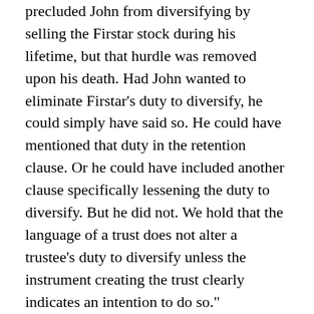precluded John from diversifying by selling the Firstar stock during his lifetime, but that hurdle was removed upon his death. Had John wanted to eliminate Firstar's duty to diversify, he could simply have said so. He could have mentioned that duty in the retention clause. Or he could have included another clause specifically lessening the duty to diversify. But he did not. We hold that the language of a trust does not alter a trustee's duty to diversify unless the instrument creating the trust clearly indicates an intention to do so."
Lessons Learned:
Good drafting could have allowed the bank to